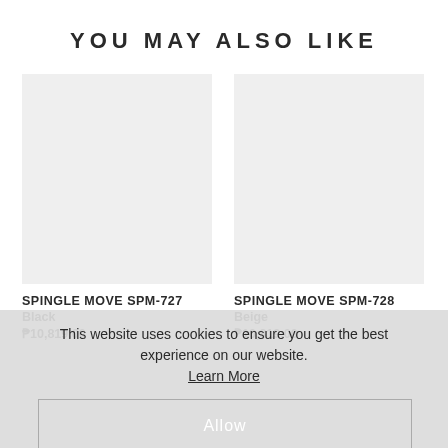YOU MAY ALSO LIKE
[Figure (photo): Product image placeholder for SPINGLE MOVE SPM-727, light grey background]
[Figure (photo): Product image placeholder for SPINGLE MOVE SPM-728, light grey background]
SPINGLE MOVE SPM-727
Black
₱10,819.00
SPINGLE MOVE SPM-728
Beige
₱10,819.00
This website uses cookies to ensure you get the best experience on our website.
Learn More
Allow